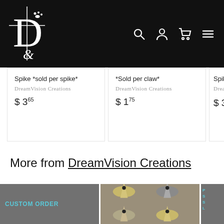DreamVision Creations header with logo and navigation icons
Spike *sold per spike*
DreamVision Creations
$ 3.65
*Sold per claw*
DreamVision Creations
$ 1.75
Spike
DreamV...
$ 3.45
More from DreamVision Creations
[Figure (photo): Custom Order gray tile with teal text]
[Figure (photo): Photo of metallic bird skull spike beads in gold and gray]
[Figure (photo): Partial gray tile with teal text, partially visible]